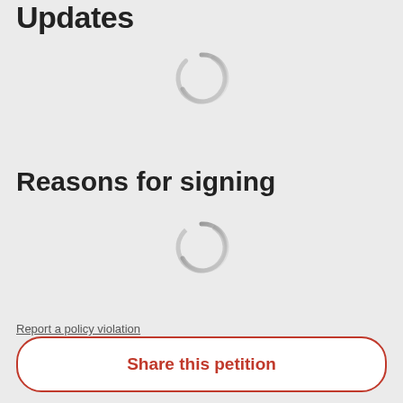Updates
[Figure (other): Loading spinner (circular arc indicator, grey, partially visible)]
Reasons for signing
[Figure (other): Loading spinner (circular arc indicator, grey)]
Report a policy violation
Share this petition